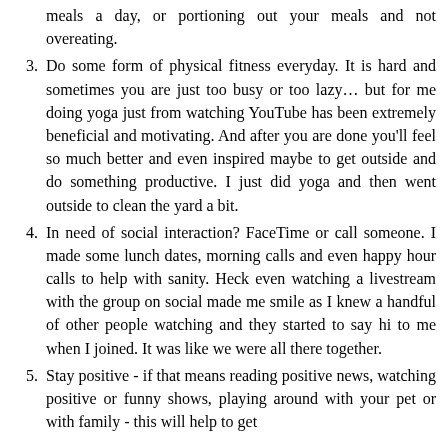meals a day, or portioning out your meals and not overeating.
3. Do some form of physical fitness everyday. It is hard and sometimes you are just too busy or too lazy... but for me doing yoga just from watching YouTube has been extremely beneficial and motivating. And after you are done you'll feel so much better and even inspired maybe to get outside and do something productive. I just did yoga and then went outside to clean the yard a bit.
4. In need of social interaction? FaceTime or call someone. I made some lunch dates, morning calls and even happy hour calls to help with sanity. Heck even watching a livestream with the group on social made me smile as I knew a handful of other people watching and they started to say hi to me when I joined. It was like we were all there together.
5. Stay positive - if that means reading positive news, watching positive or funny shows, playing around with your pet or with family - this will help to get